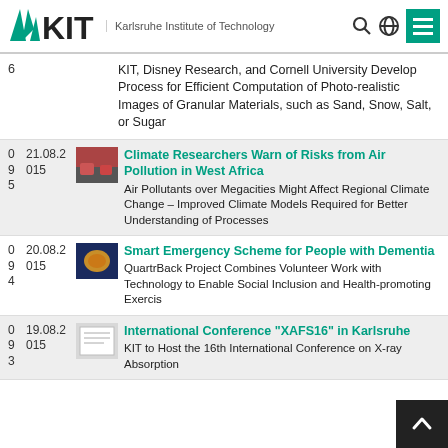KIT — Karlsruhe Institute of Technology
6 | KIT, Disney Research, and Cornell University Develop Process for Efficient Computation of Photo-realistic Images of Granular Materials, such as Sand, Snow, Salt, or Sugar
095 | 21.08.2015 | Climate Researchers Warn of Risks from Air Pollution in West Africa — Air Pollutants over Megacities Might Affect Regional Climate Change – Improved Climate Models Required for Better Understanding of Processes
094 | 20.08.2015 | Smart Emergency Scheme for People with Dementia — QuartrBack Project Combines Volunteer Work with Technology to Enable Social Inclusion and Health-promoting Exercis...
093 | 19.08.2015 | International Conference "XAFS16" in Karlsruhe — KIT to Host the 16th International Conference on X-ray Absorption Spectroscopy from August 23 to 28